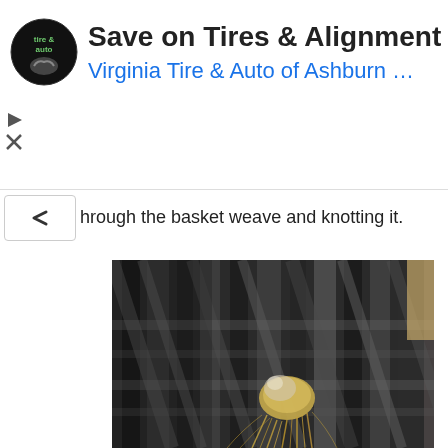[Figure (screenshot): Advertisement banner for Virginia Tire & Auto of Ashburn with logo, title 'Save on Tires & Alignment', subtitle 'Virginia Tire & Auto of Ashburn …', and a blue navigation arrow icon. Play and close controls on the left.]
hrough the basket weave and knotting it.
[Figure (photo): Close-up photo of a basket weave structure made of dark (black/grey) flat strips of material, with a knot of light golden/blonde fibrous material (possibly cord or reed) woven through the lattice. Background shows more woven strips.]